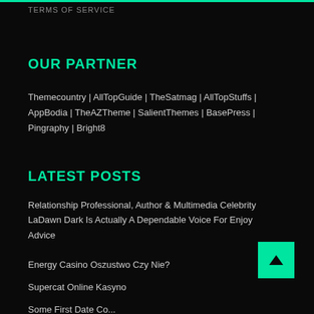TERMS OF SERVICE
OUR PARTNER
Themecountry | AllTopGuide | TheSatmag | AllTopStuffs | AppBodia | TheAZTheme | SalientThemes | BasePress | Pingraphy | Bright8
LATEST POSTS
Relationship Professional, Author & Multimedia Celebrity LaDawn Dark Is Actually A Dependable Voice For Enjoy Advice
Energy Casino Oszustwo Czy Nie?
Supercat Online Kasyno
Some First Date Commandments That'll Not Let You...